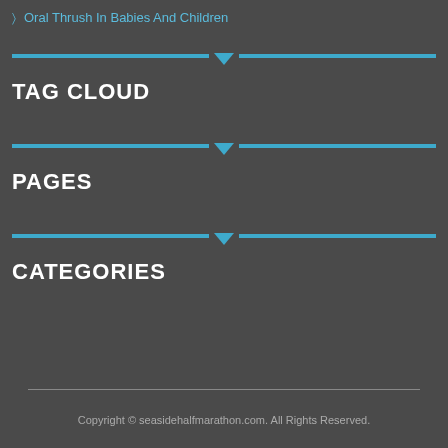Oral Thrush In Babies And Children
TAG CLOUD
PAGES
CATEGORIES
Copyright © seasidehalfmarathon.com. All Rights Reserved.